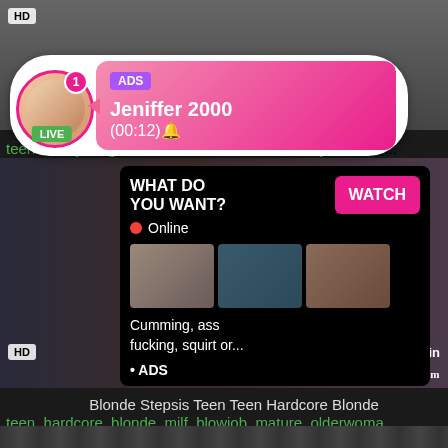[Figure (screenshot): Top video thumbnail background, dark gray]
HD
[Figure (infographic): Notification popup with avatar, LIVE badge, ADS badge, pink bubble showing 'Jeniffer 2000 (00:12)']
ADS Jeniffer  2000 (00:12)🔔 LIVE
teen, milf, young, threesome, old, mom, mommy, mother,...
[Figure (screenshot): Main video thumbnail with embedded ad overlay showing 'WHAT DO YOU WANT? WATCH Online Cumming, ass fucking, squirt or... • ADS']
HD
8 min
StrokingTheFamily.com
Blonde Stepsis Teen Teen Hardcore Blonde
teen, hardcore, blonde, milf, blowjob, mature, olderwoma...